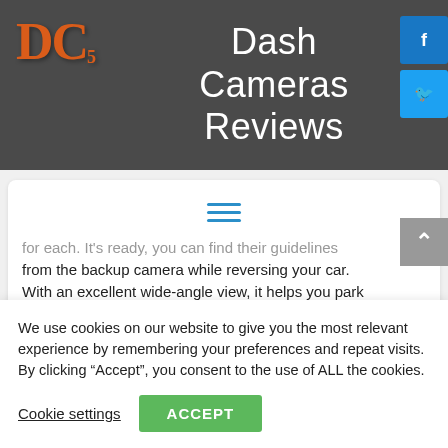Dash Cameras Reviews
[Figure (logo): DC logo in orange distressed font with subscript 5]
[Figure (other): Facebook and Twitter social media icon buttons]
[Figure (other): Hamburger menu icon with three blue lines]
for each. It's ready, you can find their guidelines from the backup camera while reversing your car. With an excellent wide-angle view, it helps you park your car safely and easily.
We use cookies on our website to give you the most relevant experience by remembering your preferences and repeat visits. By clicking “Accept”, you consent to the use of ALL the cookies.
Cookie settings
ACCEPT